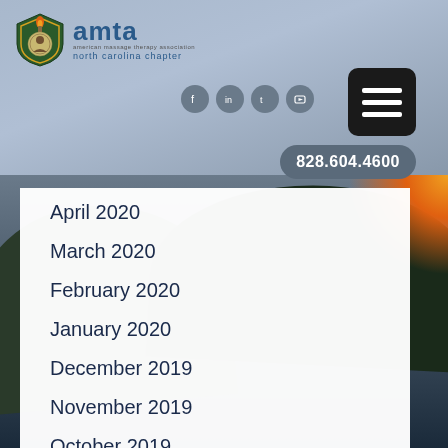[Figure (logo): AMTA North Carolina Chapter logo with shield emblem]
[Figure (screenshot): Social media icons (Facebook, LinkedIn, Twitter, YouTube) and hamburger menu button, phone number 828.604.4600]
April 2020
March 2020
February 2020
January 2020
December 2019
November 2019
October 2019
September 2019
August 2019
July 2019